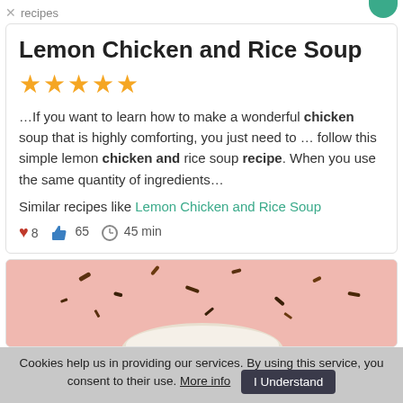recipes
Lemon Chicken and Rice Soup
★★★★★
…If you want to learn how to make a wonderful chicken soup that is highly comforting, you just need to … follow this simple lemon chicken and rice soup recipe. When you use the same quantity of ingredients…
Similar recipes like Lemon Chicken and Rice Soup
❤ 8  👍 65  ⏰ 45 min
[Figure (photo): Top-down photo on a pink background showing scattered spices and ingredients, with a bowl partially visible at the bottom.]
Cookies help us in providing our services. By using this service, you consent to their use. More info  I Understand